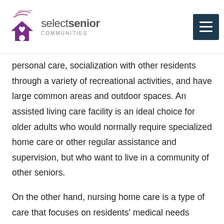select senior COMMUNITIES
personal care, socialization with other residents through a variety of recreational activities, and have large common areas and outdoor spaces. An assisted living care facility is an ideal choice for older adults who would normally require specialized home care or other regular assistance and supervision, but who want to live in a community of other seniors.
On the other hand, nursing home care is a type of care that focuses on residents’ medical needs through skilled nursing care. There are fewer recreational activities and smaller common spaces, as the typical nursing home resident would not be capable of interacting with more